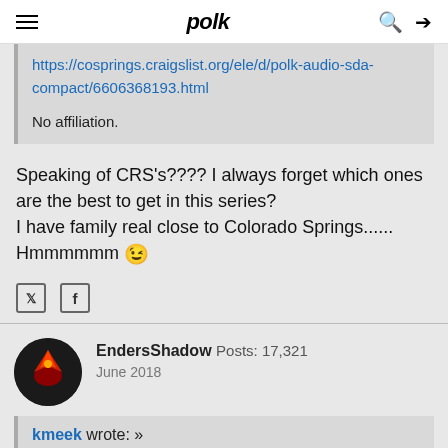polk
https://cosprings.craigslist.org/ele/d/polk-audio-sda-compact/6606368193.html

No affiliation.
Speaking of CRS's???? I always forget which ones are the best to get in this series?
I have family real close to Colorado Springs......
Hmmmmmm 😉
EndersShadow  Posts: 17,321
June 2018
kmeek wrote: »